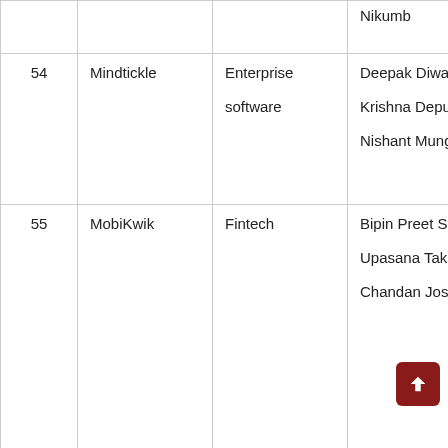| # | Company | Category | Founders | ... |
| --- | --- | --- | --- | --- |
|  |  |  | Nikumb |  |
| 54 | Mindtickle | Enterprise software | Deepak Diwakar, Krishna Depura, Nishant Mungali | 2 |
| 55 | MobiKwik | Fintech | Bipin Preet Singh, Upasana Taku, Chandan Joshi | 2 |
| 56 | Mobile | Media & | Sai Srinivas Kiran G | 2 |